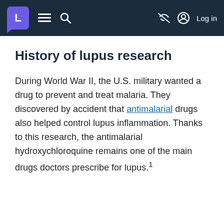L [menu] [search] [no-image] Log in
History of lupus research
During World War II, the U.S. military wanted a drug to prevent and treat malaria. They discovered by accident that antimalarial drugs also helped control lupus inflammation. Thanks to this research, the antimalarial hydroxychloroquine remains one of the main drugs doctors prescribe for lupus.¹